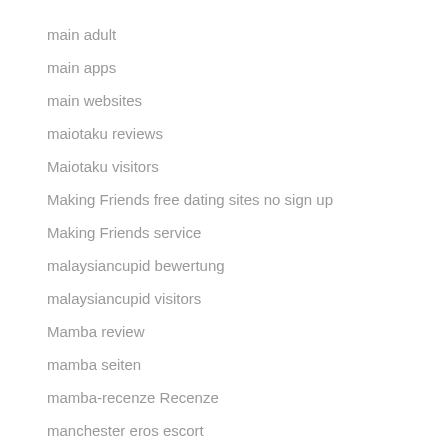main adult
main apps
main websites
maiotaku reviews
Maiotaku visitors
Making Friends free dating sites no sign up
Making Friends service
malaysiancupid bewertung
malaysiancupid visitors
Mamba review
mamba seiten
mamba-recenze Recenze
manchester eros escort
Mandurah+Australia reviews